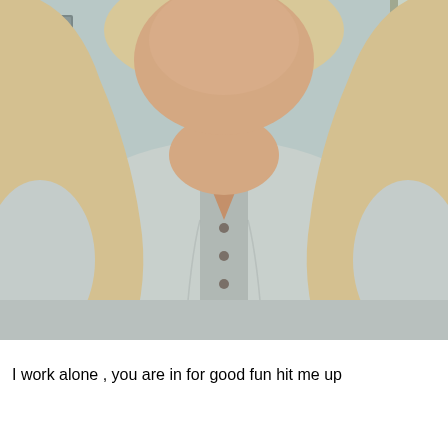[Figure (photo): A person with long blonde hair wearing a grey henley button-up long sleeve shirt, photographed from the torso up in an indoor setting.]
I work alone , you are in for good fun hit me up